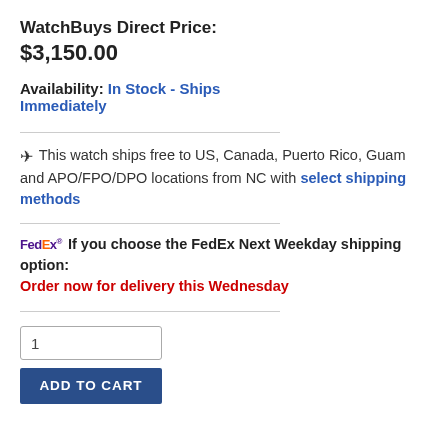WatchBuys Direct Price:
$3,150.00
Availability: In Stock - Ships Immediately
✈ This watch ships free to US, Canada, Puerto Rico, Guam and APO/FPO/DPO locations from NC with select shipping methods
FedEx If you choose the FedEx Next Weekday shipping option: Order now for delivery this Wednesday
1
ADD TO CART